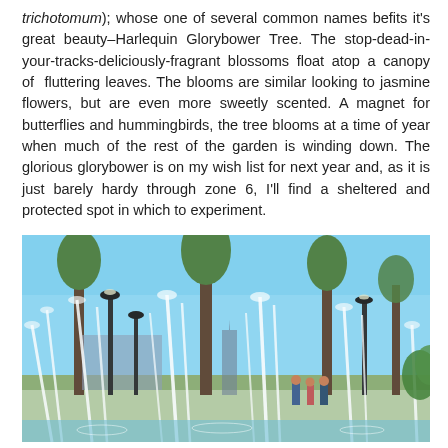trichotomum); whose one of several common names befits it's great beauty–Harlequin Glorybower Tree. The stop-dead-in-your-tracks-deliciously-fragrant blossoms float atop a canopy of fluttering leaves. The blooms are similar looking to jasmine flowers, but are even more sweetly scented. A magnet for butterflies and hummingbirds, the tree blooms at a time of year when much of the rest of the garden is winding down. The glorious glorybower is on my wish list for next year and, as it is just barely hardy through zone 6, I'll find a sheltered and protected spot in which to experiment.
[Figure (photo): Outdoor photo of a public fountain with water jets shooting upward, trees, lamp posts, people walking in background, blue sky.]